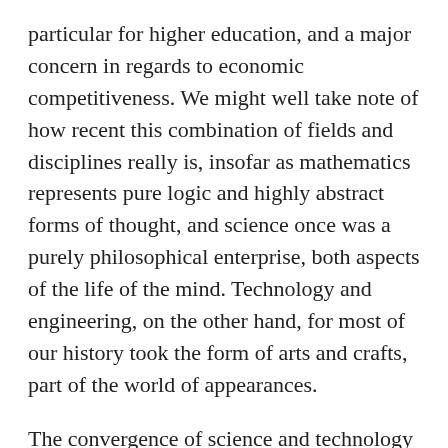particular for higher education, and a major concern in regards to economic competitiveness. We might well take note of how recent this combination of fields and disciplines really is, insofar as mathematics represents pure logic and highly abstract forms of thought, and science once was a purely philosophical enterprise, both aspects of the life of the mind. Technology and engineering, on the other hand, for most of our history took the form of arts and crafts, part of the world of appearances.
The convergence of science and technology also had much to do with scientists' increasing reliance on scientific instruments for their investigations, a trend increasingly prevalent following the introduction of both the telescope and the microscope in the early 17th century, a trend even more apparent from the 19th century on. The laboratory is in fact another such instrument, a technology whose function is to provide precisely controlled conditions,